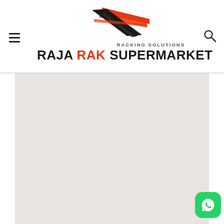[Figure (logo): Raja Rak Supermarket logo with geometric racking graphic in red and black, RACKING SOLUTIONS subtitle, and bold brand name RAJA RAK SUPERMARKET]
[Figure (other): Light gray content placeholder area below the header]
[Figure (other): WhatsApp floating action button in green at bottom right]